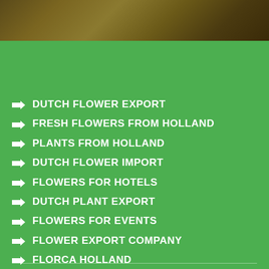[Figure (photo): Blurred brown/golden background photo strip at top of page]
DUTCH FLOWER EXPORT
FRESH FLOWERS FROM HOLLAND
PLANTS FROM HOLLAND
DUTCH FLOWER IMPORT
FLOWERS FOR HOTELS
DUTCH PLANT EXPORT
FLOWERS FOR EVENTS
FLOWER EXPORT COMPANY
FLORCA HOLLAND
PROJECTS